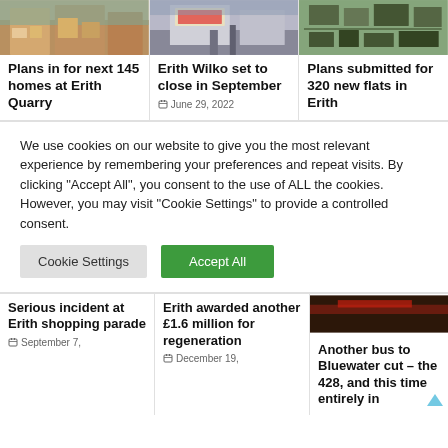[Figure (photo): Photo of apartment/housing development at Erith Quarry]
[Figure (photo): Street photo with billboard in Erith town centre]
[Figure (photo): Aerial photo of Erith housing area]
Plans in for next 145 homes at Erith Quarry
Erith Wilko set to close in September
June 29, 2022
Plans submitted for 320 new flats in Erith
We use cookies on our website to give you the most relevant experience by remembering your preferences and repeat visits. By clicking “Accept All”, you consent to the use of ALL the cookies. However, you may visit "Cookie Settings" to provide a controlled consent.
Cookie Settings
Accept All
[Figure (photo): Dark photo of bus or street scene]
Serious incident at Erith shopping parade
September 7,
Erith awarded another £1.6 million for regeneration
December 19,
Another bus to Bluewater cut – the 428, and this time entirely in